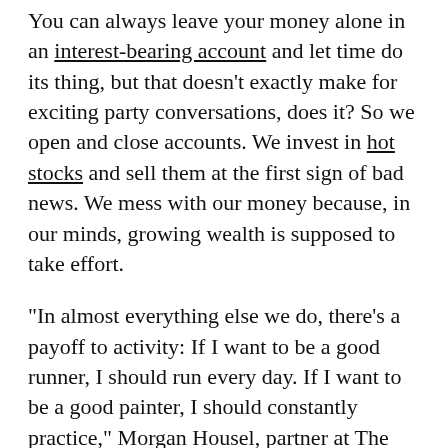You can always leave your money alone in an interest-bearing account and let time do its thing, but that doesn't exactly make for exciting party conversations, does it? So we open and close accounts. We invest in hot stocks and sell them at the first sign of bad news. We mess with our money because, in our minds, growing wealth is supposed to take effort.
“In almost everything else we do, there’s a payoff to activity: If I want to be a good runner, I should run every day. If I want to be a good painter, I should constantly practice,” Morgan Housel, partner at The Collaborative Fund and author of “The Psychology of Money,” said in an email. “But